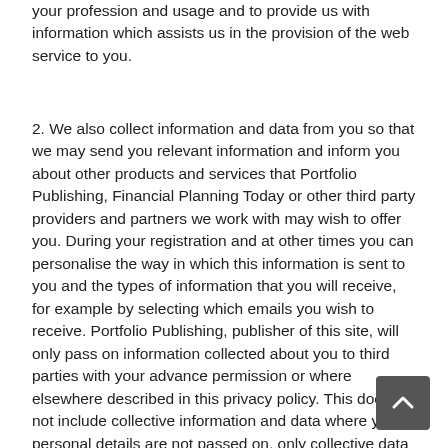your profession and usage and to provide us with information which assists us in the provision of the web service to you.
2. We also collect information and data from you so that we may send you relevant information and inform you about other products and services that Portfolio Publishing, Financial Planning Today or other third party providers and partners we work with may wish to offer you. During your registration and at other times you can personalise the way in which this information is sent to you and the types of information that you will receive, for example by selecting which emails you wish to receive. Portfolio Publishing, publisher of this site, will only pass on information collected about you to third parties with your advance permission or where elsewhere described in this privacy policy. This does not include collective information and data where your personal details are not passed on, only collective data collected about any groups or user segments you may belong to. Where third party suppliers hold data on our behalf every effort is made to ensure that we work only with